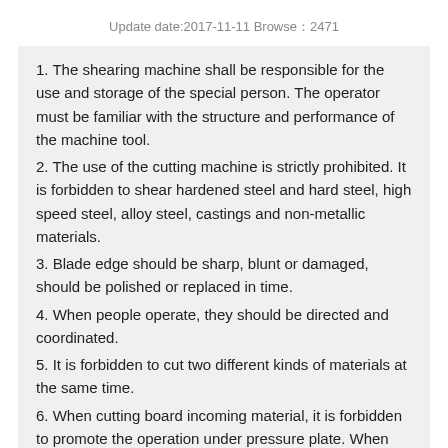Update date:2017-11-11 Browse：2471
1. The shearing machine shall be responsible for the use and storage of the special person. The operator must be familiar with the structure and performance of the machine tool.
2. The use of the cutting machine is strictly prohibited. It is forbidden to shear hardened steel and hard steel, high speed steel, alloy steel, castings and non-metallic materials.
3. Blade edge should be sharp, blunt or damaged, should be polished or replaced in time.
4. When people operate, they should be directed and coordinated.
5. It is forbidden to cut two different kinds of materials at the same time.
6. When cutting board incoming material, it is forbidden to promote the operation under pressure plate. When cutting materials should be pressed with iron plate, the finger should be left at least 200 mm when cutting.